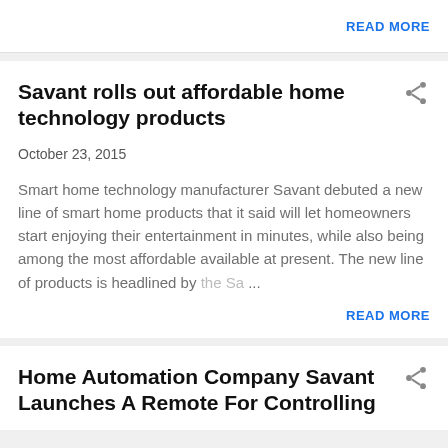READ MORE
Savant rolls out affordable home technology products
October 23, 2015
Smart home technology manufacturer Savant debuted a new line of smart home products that it said will let homeowners start enjoying their entertainment in minutes, while also being among the most affordable available at present. The new line of products is headlined by the Sa…
READ MORE
Home Automation Company Savant Launches A Remote For Controlling